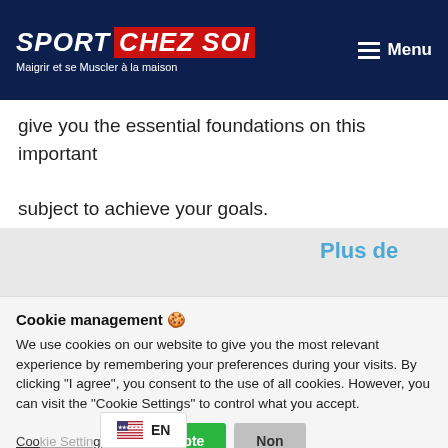SPORT CHEZ SOI — Maigrir et se Muscler à la maison — Menu
give you the essential foundations on this important subject to achieve your goals.
[Figure (illustration): Garantie badge/seal image with text GARANTIE]
Plus de
Cookie management 🍪
We use cookies on our website to give you the most relevant experience by remembering your preferences during your visits. By clicking "I agree", you consent to the use of all cookies. However, you can visit the "Cookie Settings" to control what you accept.
Cookie Settings | J'accepte | Non
EN